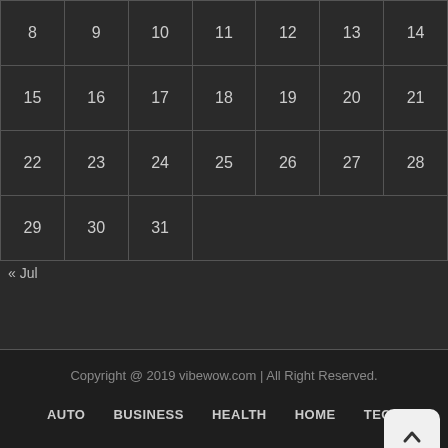| 8 | 9 | 10 | 11 | 12 | 13 | 14 |
| 15 | 16 | 17 | 18 | 19 | 20 | 21 |
| 22 | 23 | 24 | 25 | 26 | 27 | 28 |
| 29 | 30 | 31 |  |  |  |  |
« Jul
Copyright @ 2019 vibewow.com | All Right Reserved.
AUTO   BUSINESS   HEALTH   HOME   TECH
TRAVEL   EDUCATION   FASHION   FINANCE   LA...